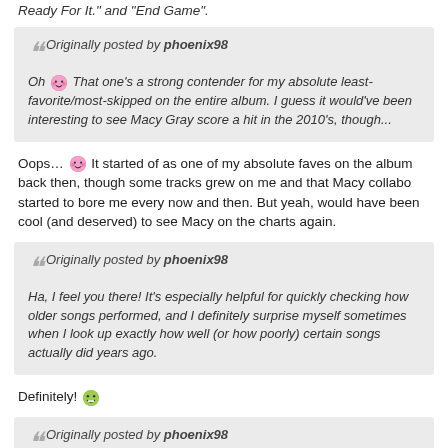Ready For It." and "End Game".
Originally posted by phoenix98
Oh 😊 That one's a strong contender for my absolute least-favorite/most-skipped on the entire album. I guess it would've been interesting to see Macy Gray score a hit in the 2010's, though...
Oops… 😊 It started of as one of my absolute faves on the album back then, though some tracks grew on me and that Macy collabo started to bore me every now and then. But yeah, would have been cool (and deserved) to see Macy on the charts again.
Originally posted by phoenix98
Ha, I feel you there! It's especially helpful for quickly checking how older songs performed, and I definitely surprise myself sometimes when I look up exactly how well (or how poorly) certain songs actually did years ago.
Definitely! 😁
Originally posted by phoenix98
I still haven't heard all of Wildfire (I should probably make that the next album I add to my library, but the Grammys really put SZA on my mind too)...but "Fight Song" definitely has a special place in my heart for being the first Rachel song that I